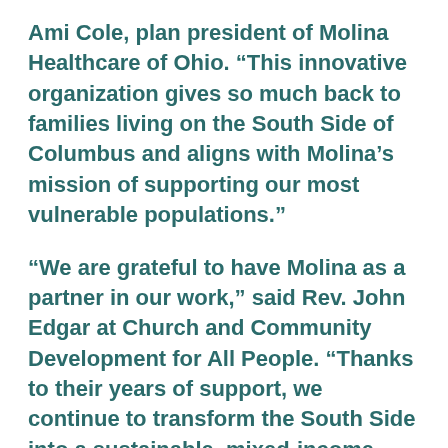Ami Cole, plan president of Molina Healthcare of Ohio. “This innovative organization gives so much back to families living on the South Side of Columbus and aligns with Molina’s mission of supporting our most vulnerable populations.”
“We are grateful to have Molina as a partner in our work,” said Rev. John Edgar at Church and Community Development for All People. “Thanks to their years of support, we continue to transform the South Side into a sustainable, mixed-income community where all people can live, work and thrive. We look forward to continuing this partnership for many years to come.”